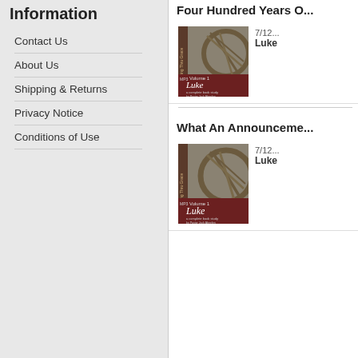Information
Contact Us
About Us
Shipping & Returns
Privacy Notice
Conditions of Use
Four Hundred Years O...
[Figure (illustration): Book cover: Volume 1 Luke, a complete book study by Pastor Jack Abeelen, Growing Thru Grace]
7/12...
Luke
What An Announceme...
[Figure (illustration): Book cover: Volume 1 Luke, a complete book study by Pastor Jack Abeelen, Growing Thru Grace]
7/12...
Luke